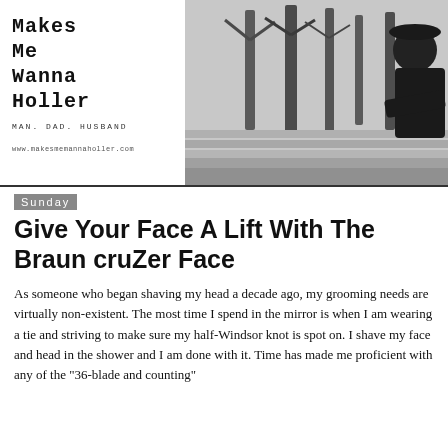[Figure (photo): Blog header banner with site title text on left and black-and-white photo of a man in a park with bare winter trees on the right]
Makes Me Wanna Holler
Man. Dad. Husband
www.makesmemannaholler.com
Sunday
Give Your Face A Lift With The Braun cruZer Face
As someone who began shaving my head a decade ago, my grooming needs are virtually non-existent. The most time I spend in the mirror is when I am wearing a tie and striving to make sure my half-Windsor knot is spot on. I shave my face and head in the shower and I am done with it. Time has made me proficient with any of the "36-blade and counting"